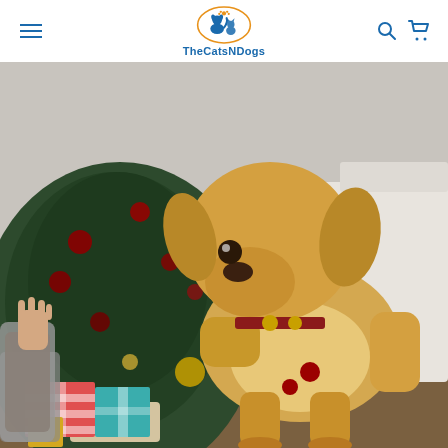TheCatsNDogs
[Figure (photo): A golden retriever dog giving a high-five to a person's hand in front of a decorated Christmas tree with red ornaments and wrapped gifts in the foreground. The dog is wearing a festive collar with bells.]